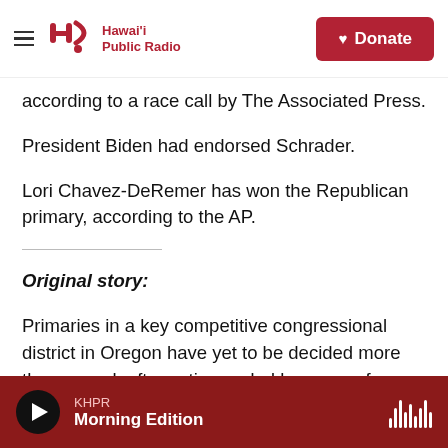Hawai'i Public Radio — Donate
according to a race call by The Associated Press.
President Biden had endorsed Schrader.
Lori Chavez-DeRemer has won the Republican primary, according to the AP.
Original story:
Primaries in a key competitive congressional district in Oregon have yet to be decided more than a week after voting ended because of a hangup
KHPR — Morning Edition